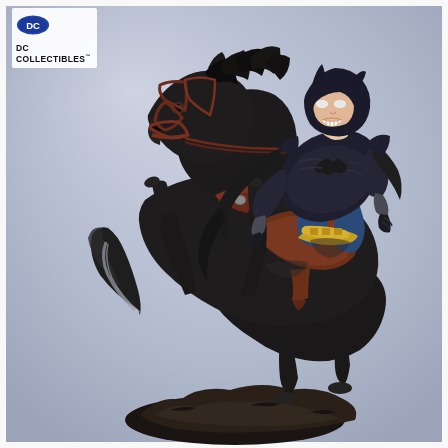[Figure (photo): DC Collectibles product photo showing a detailed collectible statue of Batman in his dark blue and grey costume riding a rearing black horse with brown leather saddle and bridle, mounted on a rocky base. Batman is leaning forward gripping the reins, with his dark cape flowing behind. The background is a soft grey-blue gradient.]
[Figure (logo): DC Collectibles logo in the upper left corner: a blue oval DC Comics symbol above the text 'DC COLLECTIBLES' with a trademark symbol.]